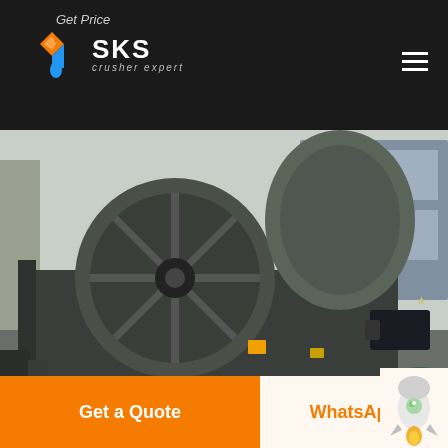Get Price | SKS crusher expert
[Figure (photo): Industrial mining/crushing equipment — large black drum/wheel sand washer machine in a factory yard setting]
galeo equipment corporation tcfuwhrorgGaleo Equipment And Mining Company ImportGenius
Get a Quote
WhatsApp